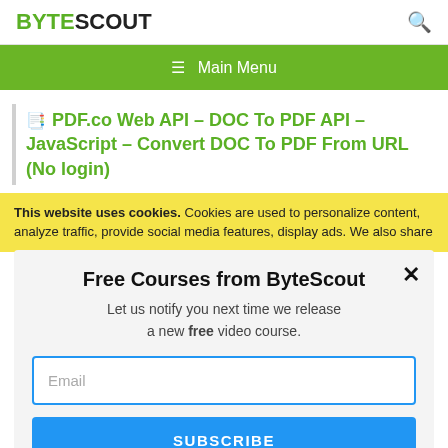BYTESCOUT
Main Menu
PDF.co Web API – DOC To PDF API – JavaScript – Convert DOC To PDF From URL (No login)
This website uses cookies. Cookies are used to personalize content, analyze traffic, provide social media features, display ads. We also share
Free Courses from ByteScout
Let us notify you next time we release a new free video course.
Email
SUBSCRIBE